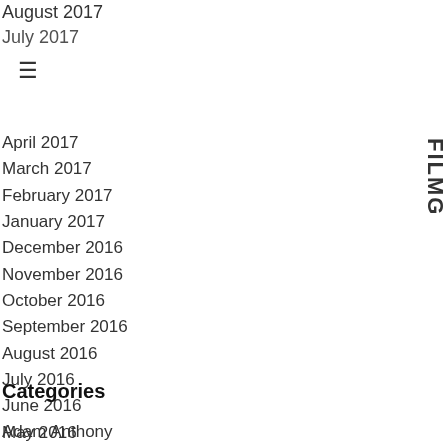August 2017
July 2017
April 2017
March 2017
February 2017
January 2017
December 2016
November 2016
October 2016
September 2016
August 2016
July 2016
June 2016
May 2016
April 2016
January 2016
April 2015
January 1970
Categories
Adam Anthony